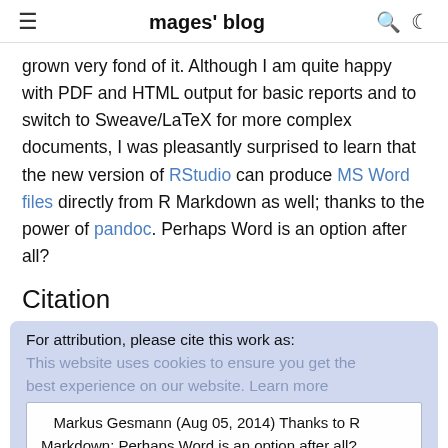mages' blog
grown very fond of it. Although I am quite happy with PDF and HTML output for basic reports and to switch to Sweave/LaTeX for more complex documents, I was pleasantly surprised to learn that the new version of RStudio can produce MS Word files directly from R Markdown as well; thanks to the power of pandoc. Perhaps Word is an option after all?
Citation
For attribution, please cite this work as:
This website uses cookies to ensure you get the best experience on our website. Learn more
Markus Gesmann (Aug 05, 2014) Thanks to R Markdown: Perhaps Word is an option after all? . Retrieved from https://magesblog.com/post/2014-08-05-thanks-to-r-markdown-perhaps-word-is/
Got it!